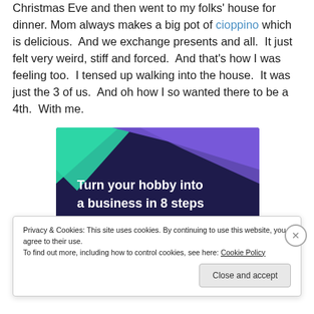Christmas Eve and then went to my folks' house for dinner. Mom always makes a big pot of cioppino which is delicious.  And we exchange presents and all.  It just felt very weird, stiff and forced.  And that's how I was feeling too.  I tensed up walking into the house.  It was just the 3 of us.  And oh how I so wanted there to be a 4th.  With me.
[Figure (other): Advertisement banner with dark purple background, green and cyan geometric shapes, text reading 'Turn your hobby into a business in 8 steps']
Privacy & Cookies: This site uses cookies. By continuing to use this website, you agree to their use.
To find out more, including how to control cookies, see here: Cookie Policy